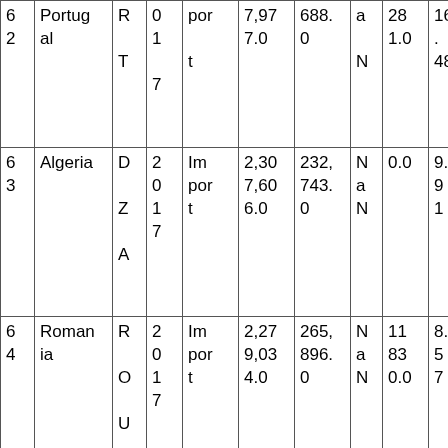| 6
2 | Portugal | R
T | 0
1
7 | por
t | 7,977.0 | 688.
0 | a
N | 28
1.0 | 16.
48 |
| 6
3 | Algeria | D
Z
A | 2
0
1
7 | Im
por
t | 2,307,60
6.0 | 232,743.
0 | N
a
N | 0.0 | 9.9
1 |
| 6
4 | Romania | R
O
U | 2
0
1
7 | Im
por
t | 2,279,03
4.0 | 265,896.
0 | N
a
N | 11
83
0.0 | 8.5
7 |
|  |  |  | 2 |  |  |  |  |  |  |